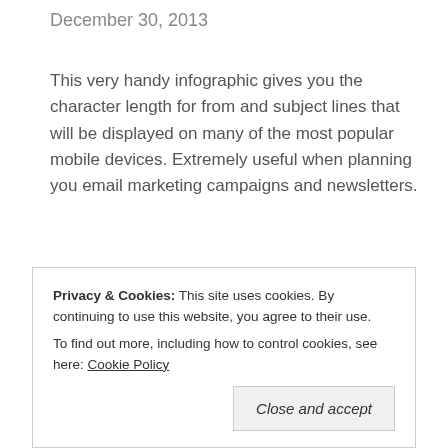December 30, 2013
This very handy infographic gives you the character length for from and subject lines that will be displayed on many of the most popular mobile devices. Extremely useful when planning you email marketing campaigns and newsletters.
[Figure (other): Icon bar with comment bubble icon and chain/link icon on a light grey background]
Privacy & Cookies: This site uses cookies. By continuing to use this website, you agree to their use.
To find out more, including how to control cookies, see here: Cookie Policy
when making purchasing decisions on the high